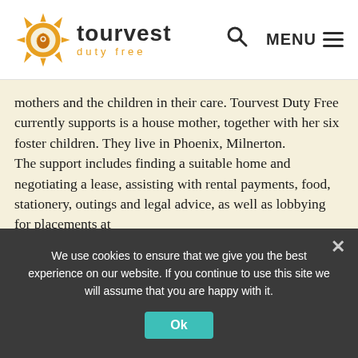[Figure (logo): Tourvest Duty Free logo with orange sun/compass icon and text 'tourvest duty free']
mothers and the children in their care. Tourvest Duty Free currently supports is a house mother, together with her six foster children. They live in Phoenix, Milnerton. The support includes finding a suitable home and negotiating a lease, assisting with rental payments, food, stationery, outings and legal advice, as well as lobbying for placements at
We use cookies to ensure that we give you the best experience on our website. If you continue to use this site we will assume that you are happy with it.